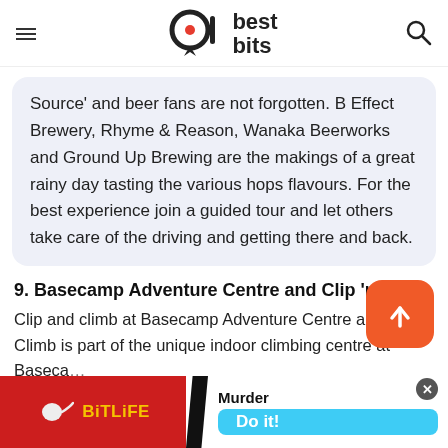best bits (logo/navigation header)
Source' and beer fans are not forgotten. B Effect Brewery, Rhyme & Reason, Wanaka Beerworks and Ground Up Brewing are the makings of a great rainy day tasting the various hops flavours. For the best experience join a guided tour and let others take care of the driving and getting there and back.
9. Basecamp Adventure Centre and Clip 'n Cli…
Clip and climb at Basecamp Adventure Centre and Clip 'n Climb is part of the unique indoor climbing centre at Baseca… theme…
[Figure (other): BitLife advertisement banner with red background, sperm icon, yellow 'BitLife' text, and a 'Murder Do it!' call-to-action button in blue, with an X close button]
[Figure (other): Orange rounded square scroll-to-top button with white upward arrow]